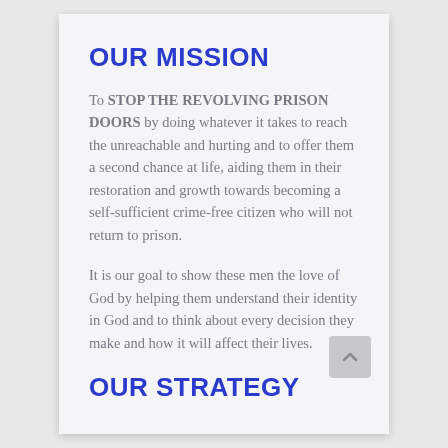OUR MISSION
To STOP THE REVOLVING PRISON DOORS by doing whatever it takes to reach the unreachable and hurting and to offer them a second chance at life, aiding them in their restoration and growth towards becoming a self-sufficient crime-free citizen who will not return to prison.
It is our goal to show these men the love of God by helping them understand their identity in God and to think about every decision they make and how it will affect their lives.
OUR STRATEGY